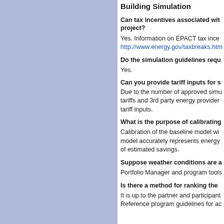[Figure (other): Blue-purple decorative left panel sidebar]
Building Simulation
Can tax incentives associated with project?
Yes. Information on EPACT tax ince http://www.energy.gov/taxbreaks.htm
Do the simulation guidelines requ
Yes.
Can you provide tariff inputs for s
Due to the number of approved simu tariffs and 3rd party energy provider tariff inputs.
What is the purpose of calibrating
Calibration of the baseline model wi model accurately represents energy of estimated savings.
Suppose weather conditions are a
Portfolio Manager and program tools
Is there a method for ranking the
It is up to the partner and participant Reference program guidelines for ac